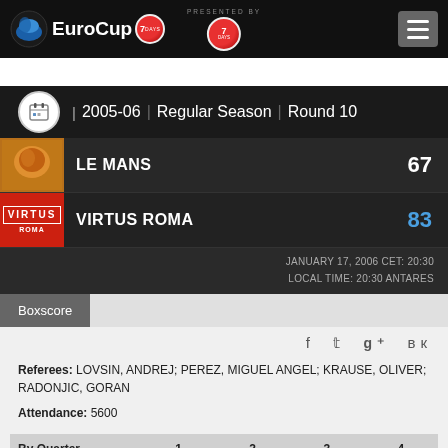EuroCup 7DAYS | Presented by 7DAYS
2005-06 | Regular Season | Round 10
LE MANS 67
VIRTUS ROMA 83
JANUARY 17, 2006 CET: 20:30 LOCAL TIME: 20:30 ANTARES
Boxscore
Referees: LOVSIN, ANDREJ; PEREZ, MIGUEL ANGEL; KRAUSE, OLIVER; RADONJIC, GORAN
Attendance: 5600
| By Quarter | 1 | 2 | 3 | 4 |
| --- | --- | --- | --- | --- |
|  |